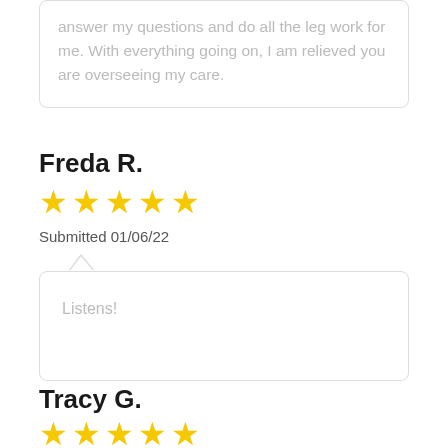answer my questions and do all the leg work for me. With everything going on, I am relieved you are overseeing my care.
Freda R.
[Figure (other): 5 yellow stars rating]
Submitted 01/06/22
Listens!
Tracy G.
[Figure (other): 5 yellow stars rating]